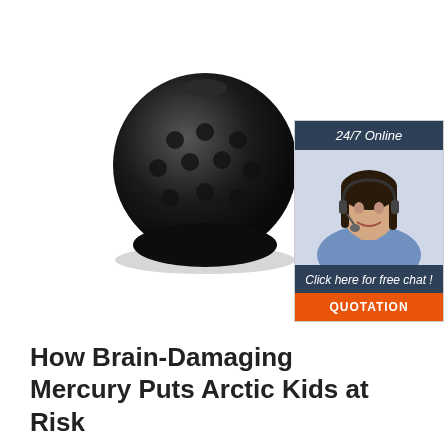[Figure (photo): Black rubber tow ball cover/cap with dimpled golf-ball-like surface texture, viewed from a slight angle]
[Figure (infographic): Advertisement banner with dark blue header '24/7 Online', photo of smiling woman with headset, dark blue footer text 'Click here for free chat!' and orange button labeled 'QUOTATION']
How Brain-Damaging Mercury Puts Arctic Kids at Risk